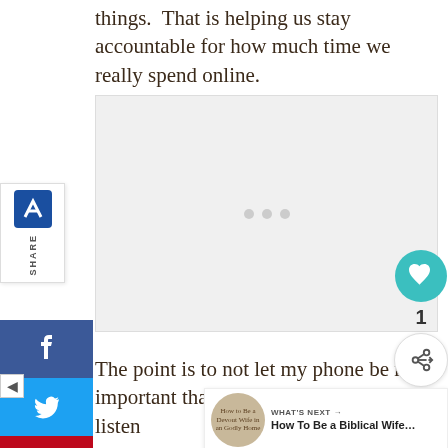things.  That is helping us stay accountable for how much time we really spend online.
[Figure (other): Advertisement placeholder box with three grey dots in center]
The point is to not let my phone be more important than my family.  It made me listen